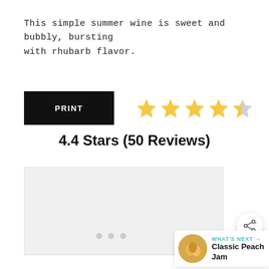This simple summer wine is sweet and bubbly, bursting with rhubarb flavor.
[Figure (other): PRINT button (black rectangle with white bold text) and a 4.4-star rating display (four filled gold stars and one half-filled star)]
4.4 Stars (50 Reviews)
[Figure (other): A large light gray image placeholder box with three small gray dots below it indicating a carousel, and a share icon button on the right side]
WHAT'S NEXT → Classic Peach Jam